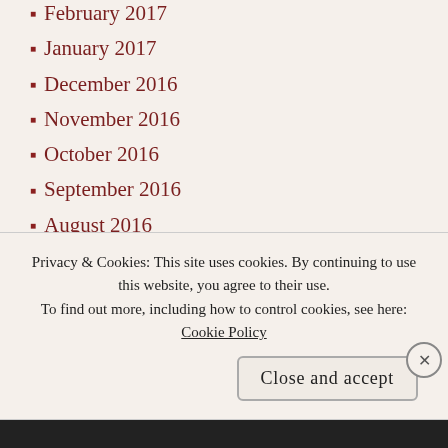February 2017
January 2017
December 2016
November 2016
October 2016
September 2016
August 2016
July 2016
June 2016
May 2016
April 2016
March 2016
Privacy & Cookies: This site uses cookies. By continuing to use this website, you agree to their use.
To find out more, including how to control cookies, see here: Cookie Policy